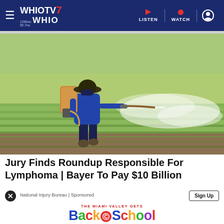WHIO TV7 | 1290am 95.7fm WHIO | LISTEN | WATCH
[Figure (photo): A farmer wearing a wide-brim hat and blue long-sleeve shirt sprays pesticide/herbicide from a backpack sprayer over a green rice paddy field. The spray creates a wide white mist. The field is flooded and green with young rice plants.]
Jury Finds Roundup Responsible For Lymphoma | Bayer To Pay $10 Billion
National Injury Bureau | Sponsored
[Figure (illustration): THE MIAMI VALLEY GETS Back to School advertisement banner with colorful lettering]